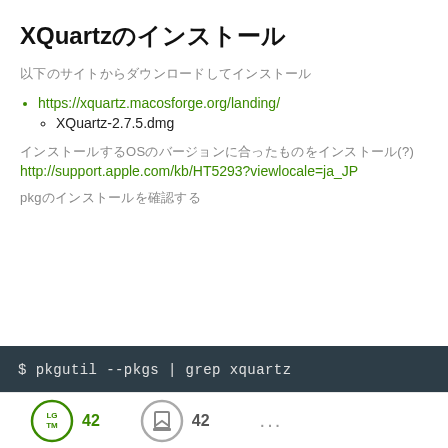XQuartz のインストール
以下のサイトからダウンロードしてインストール
https://xquartz.macosforge.org/landing/
XQuartz-2.7.5.dmg
OSのバージョンに合ったものをインストール(?)
http://support.apple.com/kb/HT5293?viewlocale=ja_JP
pkgがインストールされているか確認
42  42  ...